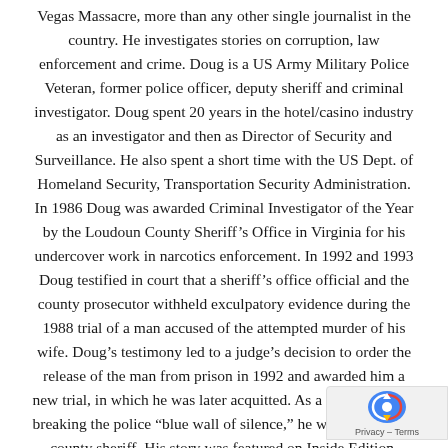Vegas Massacre, more than any other single journalist in the country. He investigates stories on corruption, law enforcement and crime. Doug is a US Army Military Police Veteran, former police officer, deputy sheriff and criminal investigator. Doug spent 20 years in the hotel/casino industry as an investigator and then as Director of Security and Surveillance. He also spent a short time with the US Dept. of Homeland Security, Transportation Security Administration. In 1986 Doug was awarded Criminal Investigator of the Year by the Loudoun County Sheriff’s Office in Virginia for his undercover work in narcotics enforcement. In 1992 and 1993 Doug testified in court that a sheriff’s office official and the county prosecutor withheld exculpatory evidence during the 1988 trial of a man accused of the attempted murder of his wife. Doug’s testimony led to a judge’s decision to order the release of the man from prison in 1992 and awarded him a new trial, in which he was later acquitted. As a result of Doug breaking the police “blue wall of silence,” he was fired by the county sheriff. His story was featured on Inside Edition, Current Affair and CBS News “Street Stories with Ed Bradley”. In 1992 after losing his job at the request of the Federal Bureau of Investigation, Doug